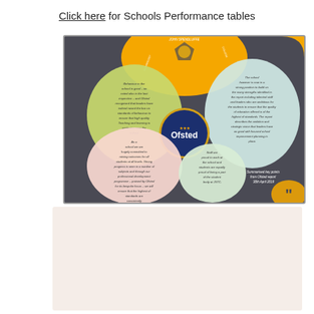Click here for Schools Performance tables
[Figure (infographic): Ofsted inspection summary infographic for John Spendluffe Technology College. Dark background with circular speech bubbles containing text about school behaviour, improvement, staff pride, and student outcomes. Central Ofsted logo with three stars. Yellow, green, pink and teal accent circles. Text reads: Behaviour in the school is good - as noted also in the last inspection - and Ofsted recognised that leaders have indeed raised the bar on standards of behaviour to ensure that high quality Teaching and learning is evident across the school. / The school however is now in a strong position to build on the many strengths identified in the report including talented staff and leaders who are ambitious for the students to ensure that the quality of education offered is of the highest of standards. The report describes the ambition and strategic vision that leaders have as good with focused school improvement planning in place. / As a school we are hugely committed to raising outcomes for all students at all levels. Strong progress is seen in a number of subjects and through our professional development programme - praised by Ofsted for its bespoke focus - we will ensure that the highest of standards are consistently achieved. / Staff are proud to work at the school and students are equally proud of being a part of the student body at JSTC. / Summarised key points from Ofsted report 30th April 2019.]
[Figure (other): Light pinkish-beige blank rectangle, possibly a placeholder image or faded content area.]